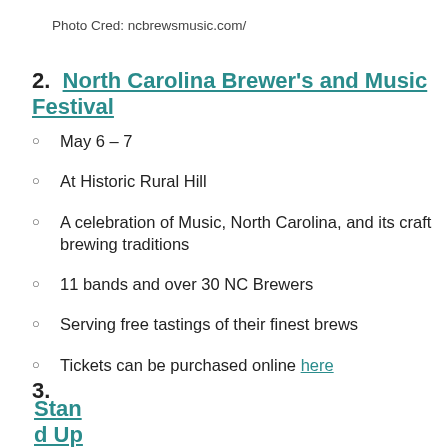Photo Cred: ncbrewsmusic.com/
2.  North Carolina Brewer's and Music Festival
May 6 – 7
At Historic Rural Hill
A celebration of Music, North Carolina, and its craft brewing traditions
11 bands and over 30 NC Brewers
Serving free tastings of their finest brews
Tickets can be purchased online here
3.  Stand Up